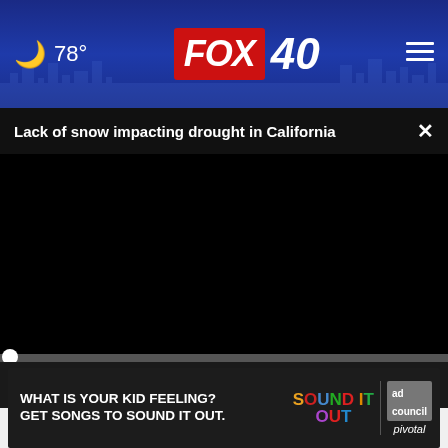🌙 78° FOX 40
Lack of snow impacting drought in California
[Figure (screenshot): Black video player with progress bar at 00:00, play button, mute button, closed captions button, and fullscreen button]
Do You Know What Plaque Psoriasis Is? (Take a Look)
[Figure (photo): Advertisement banner: WHAT IS YOUR KID FEELING? GET SONGS TO SOUND IT OUT. Sound It Out logo, ad council logo, pivotal logo]